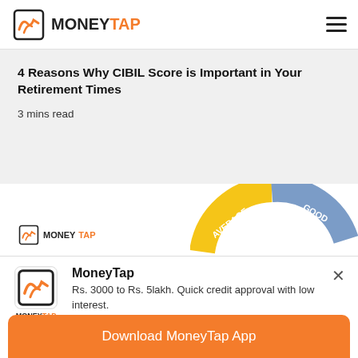[Figure (logo): MoneyTap logo in navigation bar]
4 Reasons Why CIBIL Score is Important in Your Retirement Times
3 mins read
[Figure (logo): MoneyTap small logo in article card]
[Figure (infographic): CIBIL score gauge showing AVERAGE and GOOD sections in yellow and blue]
×
[Figure (logo): MoneyTap app icon]
MoneyTap
Rs. 3000 to Rs. 5lakh. Quick credit approval with low interest.
★★★★½ 312K
Download MoneyTap App